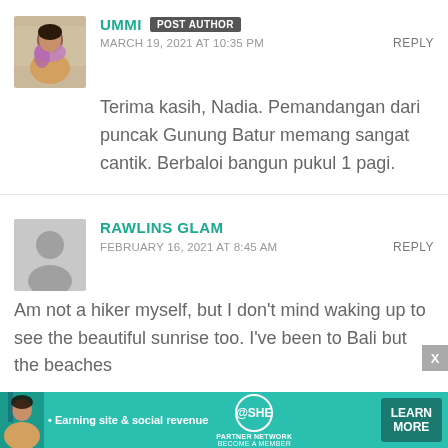[Figure (photo): Profile photo of Ummi – woman with pink/purple scarf outdoors]
UMMI POST AUTHOR
MARCH 19, 2021 AT 10:35 PM   REPLY
Terima kasih, Nadia. Pemandangan dari puncak Gunung Batur memang sangat cantik. Berbaloi bangun pukul 1 pagi.
[Figure (illustration): Generic avatar placeholder icon (grey silhouette)]
RAWLINS GLAM
FEBRUARY 16, 2021 AT 8:45 AM   REPLY
Am not a hiker myself, but I don't mind waking up to see the beautiful sunrise too. I've been to Bali but the beaches
[Figure (infographic): SHE Partner Network advertisement banner – Earning site & social revenue, LEARN MORE button]